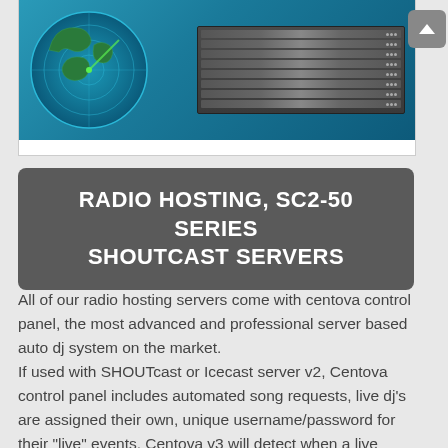[Figure (screenshot): Screenshot showing a radar globe visualization and server rack image on a teal/blue background, representing radio hosting servers]
RADIO HOSTING, SC2-50 SERIES SHOUTCAST SERVERS
All of our radio hosting servers come with centova control panel, the most advanced and professional server based auto dj system on the market. If used with SHOUTcast or Icecast server v2, Centova control panel includes automated song requests, live dj's are assigned their own, unique username/password for their "live" events, Centova v3 will detect when a live source has